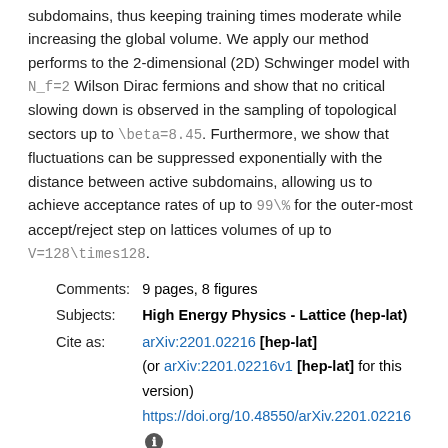subdomains, thus keeping training times moderate while increasing the global volume. We apply our method performs to the 2-dimensional (2D) Schwinger model with N_f=2 Wilson Dirac fermions and show that no critical slowing down is observed in the sampling of topological sectors up to \beta=8.45. Furthermore, we show that fluctuations can be suppressed exponentially with the distance between active subdomains, allowing us to achieve acceptance rates of up to 99\% for the outer-most accept/reject step on lattices volumes of up to V=128\times128.
| Comments: | 9 pages, 8 figures |
| Subjects: | High Energy Physics - Lattice (hep-lat) |
| Cite as: | arXiv:2201.02216 [hep-lat]
(or arXiv:2201.02216v1 [hep-lat] for this version)
https://doi.org/10.48550/arXiv.2201.02216 |
Submission history
From: Jacob Finkenrath [view email]
[v1] Thu, 6 Jan 2022 19:15:25 UTC (564 KB)
Download: